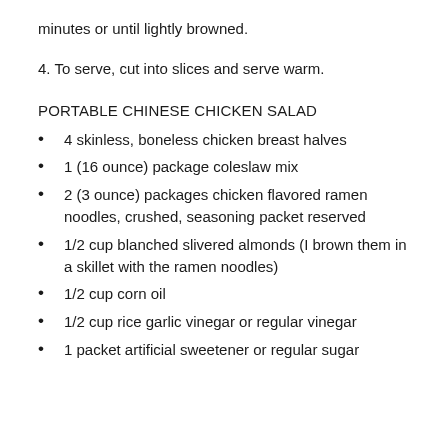minutes or until lightly browned.
4. To serve, cut into slices and serve warm.
PORTABLE CHINESE CHICKEN SALAD
4 skinless, boneless chicken breast halves
1 (16 ounce) package coleslaw mix
2 (3 ounce) packages chicken flavored ramen noodles, crushed, seasoning packet reserved
1/2 cup blanched slivered almonds (I brown them in a skillet with the ramen noodles)
1/2 cup corn oil
1/2 cup rice garlic vinegar or regular vinegar
1 packet artificial sweetener or regular sugar